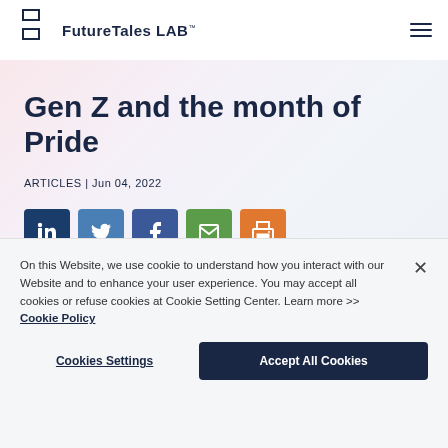FutureTales LAB™
Gen Z and the month of Pride
ARTICLES | Jun 04, 2022
[Figure (illustration): Social share buttons: LinkedIn, Twitter, Facebook, Email, Print]
On this Website, we use cookie to understand how you interact with our Website and to enhance your user experience. You may accept all cookies or refuse cookies at Cookie Setting Center. Learn more >> Cookie Policy
Cookies Settings
Accept All Cookies